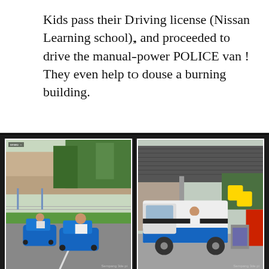Kids pass their Driving license (Nissan Learning school), and proceeded to drive the manual-power POLICE van ! They even help to douse a burning building.
[Figure (photo): Left photo: Two children riding small blue electric cars on a go-kart track with trees and a fence in the background. Right photo: A child sitting in a large toy police van (white and blue) at what appears to be a theme park or activity center with a covered structure in the background.]